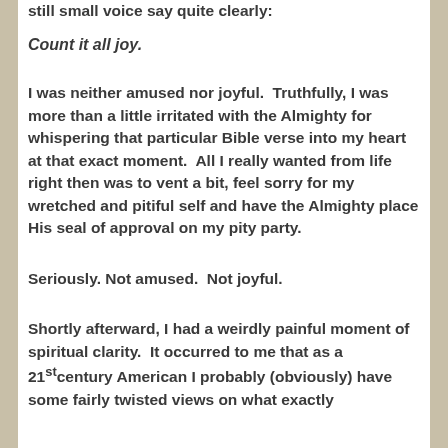still small voice say quite clearly:
Count it all joy.
I was neither amused nor joyful. Truthfully, I was more than a little irritated with the Almighty for whispering that particular Bible verse into my heart at that exact moment. All I really wanted from life right then was to vent a bit, feel sorry for my wretched and pitiful self and have the Almighty place His seal of approval on my pity party.
Seriously. Not amused. Not joyful.
Shortly afterward, I had a weirdly painful moment of spiritual clarity. It occurred to me that as a 21st century American I probably (obviously) have some fairly twisted views on what exactly